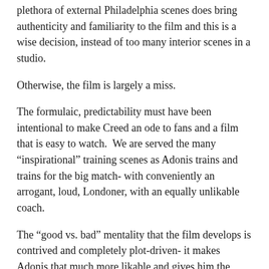plethora of external Philadelphia scenes does bring authenticity and familiarity to the film and this is a wise decision, instead of too many interior scenes in a studio.
Otherwise, the film is largely a miss.
The formulaic, predictability must have been intentional to make Creed an ode to fans and a film that is easy to watch.  We are served the many “inspirational” training scenes as Adonis trains and trains for the big match- with conveniently an arrogant, loud, Londoner, with an equally unlikable coach.
The “good vs. bad” mentality that the film develops is contrived and completely plot-driven- it makes Adonis that much more likable and gives him the rooting factor.
This occurs time and time again in sports films. Why not make both fighters nice guys?